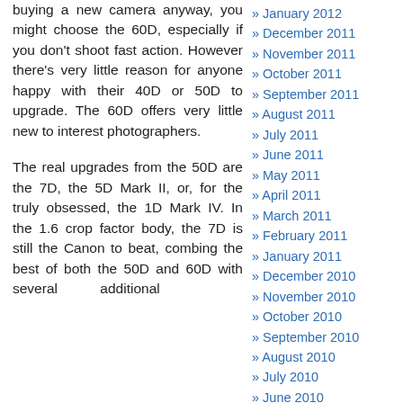buying a new camera anyway, you might choose the 60D, especially if you don't shoot fast action. However there's very little reason for anyone happy with their 40D or 50D to upgrade. The 60D offers very little new to interest photographers.
The real upgrades from the 50D are the 7D, the 5D Mark II, or, for the truly obsessed, the 1D Mark IV. In the 1.6 crop factor body, the 7D is still the Canon to beat, combing the best of both the 50D and 60D with several additional
January 2012
December 2011
November 2011
October 2011
September 2011
August 2011
July 2011
June 2011
May 2011
April 2011
March 2011
February 2011
January 2011
December 2010
November 2010
October 2010
September 2010
August 2010
July 2010
June 2010